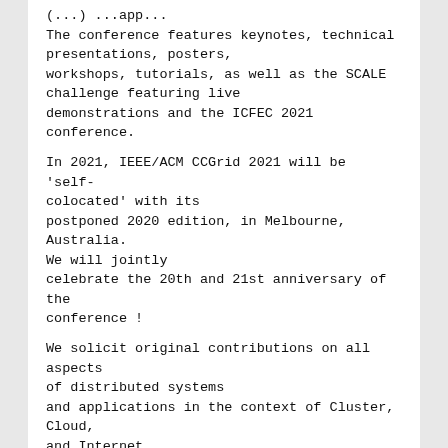(...) ...app...
The conference features keynotes, technical presentations, posters,
workshops, tutorials, as well as the SCALE challenge featuring live
demonstrations and the ICFEC 2021 conference.
In 2021, IEEE/ACM CCGrid 2021 will be 'self-colocated' with its
postponed 2020 edition, in Melbourne, Australia. We will jointly
celebrate the 20th and 21st anniversary of the conference !
We solicit original contributions on all aspects of distributed systems
and applications in the context of Cluster, Cloud, and Internet
computing environments. Specific topics of interest include but are not
limited to the following:
Internet Computing Frontiers: Edge, Fog, Serverless, Lambda, Streaming,
Highly decentralized approaches to cloud computing. Edge/Fog computing,
sensor data streaming and computation on the edges of the network.
Function as a Service (Faas), Backend as a Service
(BaaS), serverless